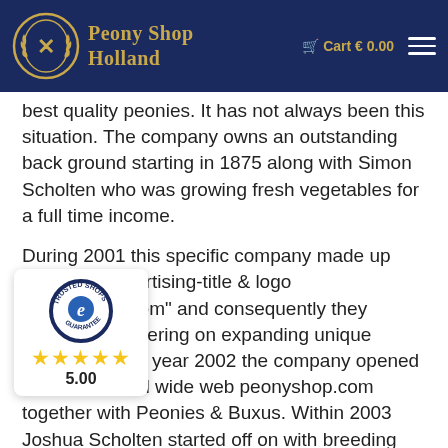Peony Shop Holland — Cart € 0.00
best quality peonies. It has not always been this situation. The company owns an outstanding back ground starting in 1875 along with Simon Scholten who was growing fresh vegetables for a full time income.
During 2001 this specific company made up their new advertising-title & logo "Peonyshop.com" and consequently they started off centering on expanding unique peonies. In the year 2002 the company opened their own world wide web peonyshop.com together with Peonies & Buxus. Within 2003 Joshua Scholten started off on with breeding peonies. After that in year 2004 the r business started to foreign trade peonies ng from the Netherlands all over Europe, and Asian countries.
[Figure (logo): Trusted Shops guarantee badge with 5 gold stars and score 5.00]
Nowadays our peony nursery is specialized in